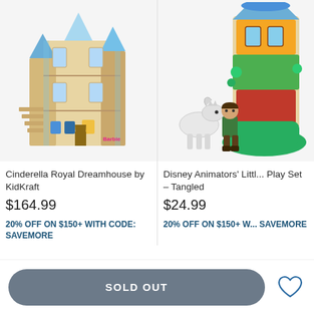[Figure (photo): Cinderella Royal Dreamhouse by KidKraft dollhouse product photo on white background]
[Figure (photo): Disney Animators' Little Play Set - Tangled product photo showing Rapunzel treehouse playset with figures on white background]
Cinderella Royal Dreamhouse by KidKraft
$164.99
20% OFF ON $150+ WITH CODE: SAVEMORE
Disney Animators' Little Play Set – Tangled
$24.99
20% OFF ON $150+ WITH CODE: SAVEMORE
SOLD OUT